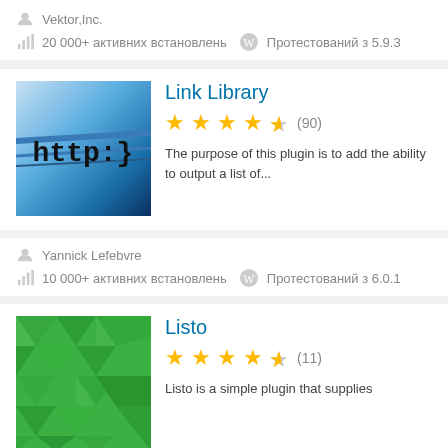Vektor,Inc.
20 000+ активних встановлень  Протестований з 5.9.3
[Figure (screenshot): Plugin thumbnail showing 'http:}' text on blue gradient background for Link Library plugin]
Link Library
★★★★½ (90)
The purpose of this plugin is to add the ability to output a list of...
Yannick Lefebvre
10 000+ активних встановлень  Протестований з 6.0.1
[Figure (illustration): Green geometric polygon pattern thumbnail for Listo plugin]
Listo
★★★★½ (11)
Listo is a simple plugin that supplies